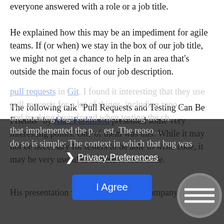everyone answered with a role or a job title.
He explained how this may be an impediment for agile teams. If (or when) we stay in the box of our job title, we might not get a chance to help in an area that’s outside the main focus of our job description.
The following talk “Pull Requests and Testing Can Be Friends” by Alan Parkinson presented some very interesting points. One of them was this: While it may not be necessary for testers to be able to write code, it may be very useful to be able to read code.
His presentation was mainly how his company uses pull requests in Git. I found it interesting that they use pull requests for a lot of things, including reporting and tracking bugs found when testing the change that implemented the pull request. The reason they do so is simple: The context in which that bug was